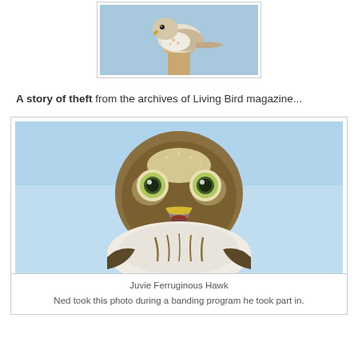[Figure (photo): A hawk perched on a wooden post, viewed from below against a blue sky, with white and rust-colored plumage visible, tail extended to the right.]
A story of theft from the archives of Living Bird magazine...
[Figure (photo): Close-up front-facing photo of a juvenile Ferruginous Hawk with large round eyes, yellow and grey beak open, brown and white feathered chest, against a light blue background.]
Juvie Ferruginous Hawk
Ned took this photo during a banding program he took part in.